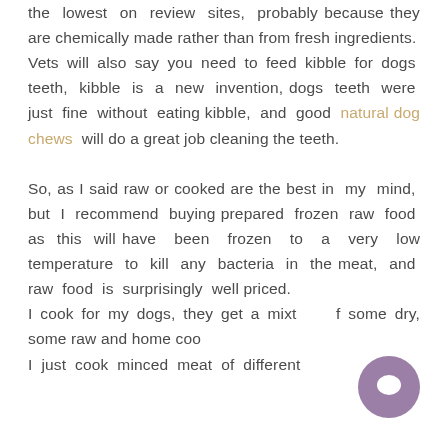the lowest on review sites, probably because they are chemically made rather than from fresh ingredients.
Vets will also say you need to feed kibble for dogs teeth, kibble is a new invention, dogs teeth were just fine without eating kibble, and good natural dog chews will do a great job cleaning the teeth.

So, as I said raw or cooked are the best in my mind, but I recommend buying prepared frozen raw food as this will have been frozen to a very low temperature to kill any bacteria in the meat, and raw food is surprisingly well priced.
I cook for my dogs, they get a mixture of some dry, some raw and home coo...
I just cook minced meat of different
[Figure (other): Purple circular chat bubble button with speech bubble icon, positioned bottom right]